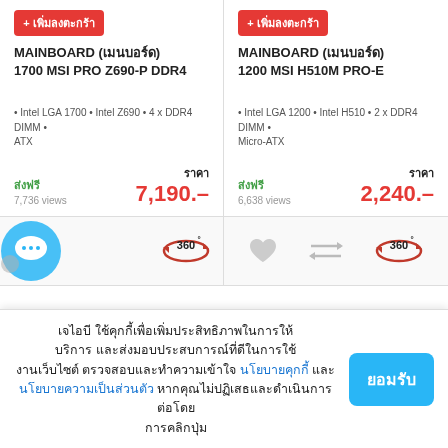MAINBOARD (เมนบอร์ด) 1700 MSI PRO Z690-P DDR4
• Intel LGA 1700 • Intel Z690 • 4 x DDR4 DIMM • ATX
ส่งฟรี
7,736 views
ราคา
7,190.-
MAINBOARD (เมนบอร์ด) 1200 MSI H510M PRO-E
• Intel LGA 1200 • Intel H510 • 2 x DDR4 DIMM • Micro-ATX
ส่งฟรี
6,638 views
ราคา
2,240.-
[Figure (infographic): Icon row with chat bubble, 360-degree view button, heart icon, compare arrows, and another 360-degree view button]
เจไอบี ใช้คุกกี้เพื่อเพิ่มประสิทธิภาพในการให้บริการ และส่งมอบประสบการณ์ที่ดีในการใช้งานเว็บไซต์ ตรวจสอบและทำความเข้าใจ นโยบายคุกกี้ และนโยบายความเป็นส่วนตัว หากคุณไม่ปฏิเสธและดำเนินการต่อโดยการคลิกปุ่ม
ยอมรับ